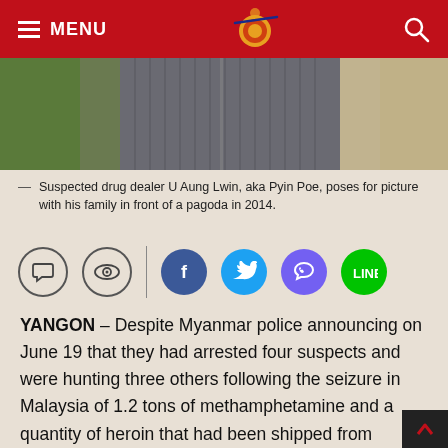MENU [navigation bar with logo and search]
[Figure (photo): Cropped photo of a person in a grey jacket, partially visible from chest down, with a green background on the left and blurred background on the right.]
Suspected drug dealer U Aung Lwin, aka Pyin Poe, poses for picture with his family in front of a pagoda in 2014.
[Figure (infographic): Social sharing buttons: comment bubble icon, eye/view icon (both outlined), vertical divider, then Facebook (blue), Twitter (light blue), Viber (purple), Line (green) filled circle icons.]
YANGON – Despite Myanmar police announcing on June 19 that they had arrested four suspects and were hunting three others following the seizure in Malaysia of 1.2 tons of methamphetamine and a quantity of heroin that had been shipped from Yangon port last month, authorities have still not released many details about the backgrounds of each of the suspects.